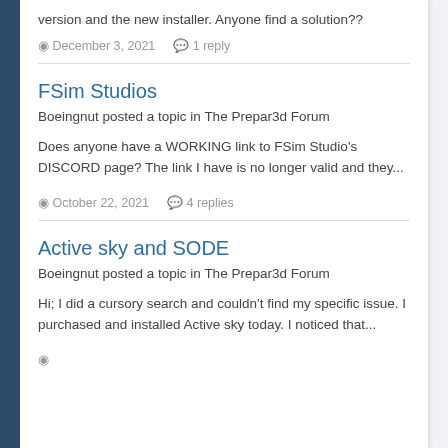version and the new installer. Anyone find a solution??
December 3, 2021   1 reply
FSim Studios
Boeingnut posted a topic in The Prepar3d Forum
Does anyone have a WORKING link to FSim Studio's DISCORD page? The link I have is no longer valid and they...
October 22, 2021   4 replies
Active sky and SODE
Boeingnut posted a topic in The Prepar3d Forum
Hi; I did a cursory search and couldn't find my specific issue. I purchased and installed Active sky today. I noticed that...